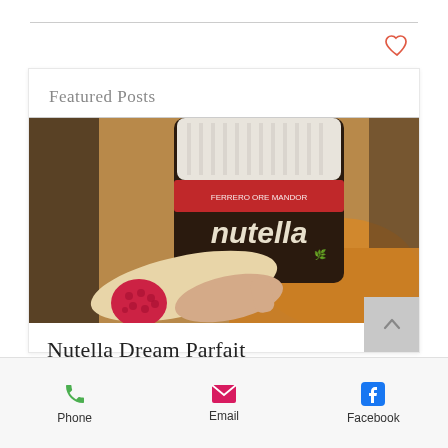[Figure (other): Heart/favorite icon outline in red/coral color, top right corner]
Featured Posts
[Figure (photo): Close-up photo of a Nutella jar with a wooden spoon holding a raspberry in the foreground, on a wooden table]
Nutella Dream Parfait
[Figure (other): Scroll-to-top button with upward chevron arrow, gray background, bottom right of card]
Phone   Email   Facebook